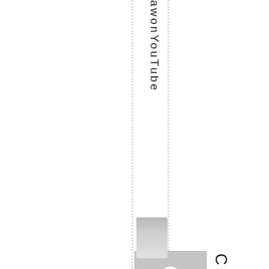awonYouTube
[Figure (illustration): Scrollbar or slider indicator element]
[Figure (photo): Default user profile avatar placeholder image - grey square with white person silhouette]
Carl
ospilhaSepte